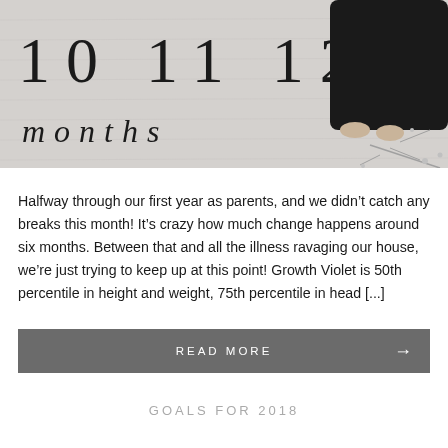[Figure (photo): Black and white photo of a baby standing on a milestone blanket showing numbers 10, 11, 12 and the word 'months' in handwritten script. Baby is wearing a dark outfit and the blanket has floral/branch decorations.]
Halfway through our first year as parents, and we didn't catch any breaks this month! It's crazy how much change happens around six months. Between that and all the illness ravaging our house, we're just trying to keep up at this point! Growth Violet is 50th percentile in height and weight, 75th percentile in head [...]
READ MORE →
GOALS FOR 2018